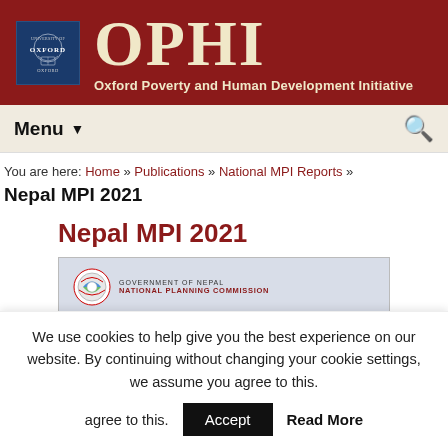OPHI — Oxford Poverty and Human Development Initiative
Menu ▾
You are here: Home » Publications » National MPI Reports »
Nepal MPI 2021
Nepal MPI 2021
[Figure (other): Cover preview of the Nepal MPI 2021 report, showing Government of Nepal National Planning Commission logo and a partially visible red badge with 'NEPAL' text.]
We use cookies to help give you the best experience on our website. By continuing without changing your cookie settings, we assume you agree to this.  Accept  Read More